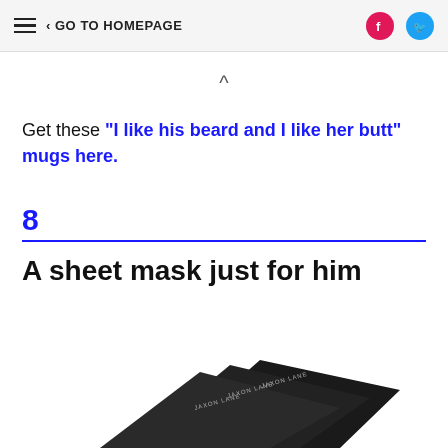≡  < GO TO HOMEPAGE  [Facebook] [Twitter]
^
Get these "I like his beard and I like her butt" mugs here.
8
A sheet mask just for him
[Figure (photo): Dark black product packages labeled JAXON LANE fanned out against a white background]